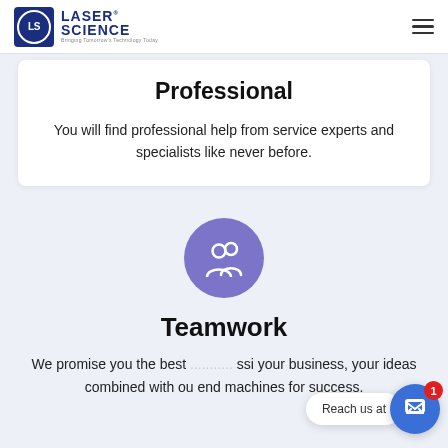[Figure (logo): Laser Science logo with LS initials in a blue square with circle, and brand name in navy blue text. Tagline: Bringing Tomorrow's Technology Today]
Professional
You will find professional help from service experts and specialists like never before.
[Figure (illustration): Purple circle with white teamwork/people group icon]
Teamwork
We promise you the best [teamwork/passion] your business, your ideas combined with our end machines for success.